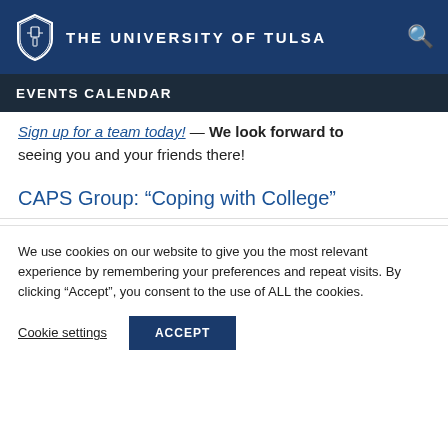THE UNIVERSITY OF TULSA
EVENTS CALENDAR
Sign up for a team today! — We look forward to seeing you and your friends there!
CAPS Group: “Coping with College”
We use cookies on our website to give you the most relevant experience by remembering your preferences and repeat visits. By clicking “Accept”, you consent to the use of ALL the cookies.
Cookie settings | ACCEPT